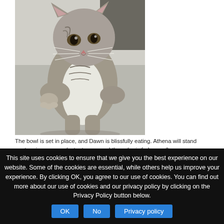[Figure (photo): A grey and white cat standing upright on its hind legs with one paw raised, photographed indoors against a light background.]
The bowl is set in place, and Dawn is blissfully eating. Athena will stand up, too, in a more reluctant pose, and then she is fed as well.
This site uses cookies to ensure that we give you the best experience on our website. Some of the cookies are essential, while others help us improve your experience. By clicking OK, you agree to our use of cookies. You can find out more about our use of cookies and our privacy policy by clicking on the Privacy Policy button below.